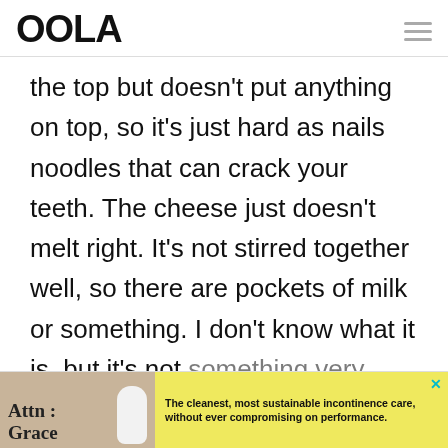OOLA
the top but doesn't put anything on top, so it's just hard as nails noodles that can crack your teeth. The cheese just doesn't melt right. It's not stirred together well, so there are pockets of milk or something. I don't know what it is, but it's not something very appetizing. I feel
[Figure (infographic): Advertisement banner for Attn: Grace incontinence care products. Shows a product image on left with brand name, yellow background on right with text: 'The cleanest, most sustainable incontinence care, without ever compromising on performance.']